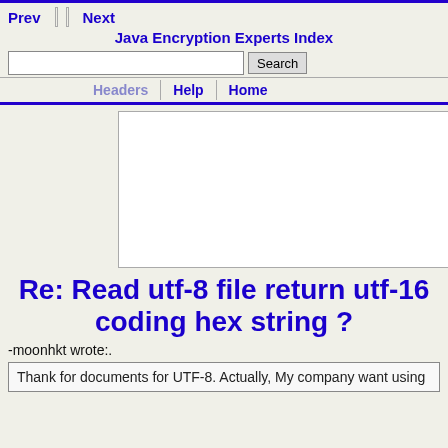Prev  Next  Java Encryption Experts Index  Search  Headers  Help  Home
[Figure (other): Advertisement banner box, white rectangle]
Re: Read utf-8 file return utf-16 coding hex string ?
-moonhkt wrote:.
Thank for documents for UTF-8. Actually, My company want using